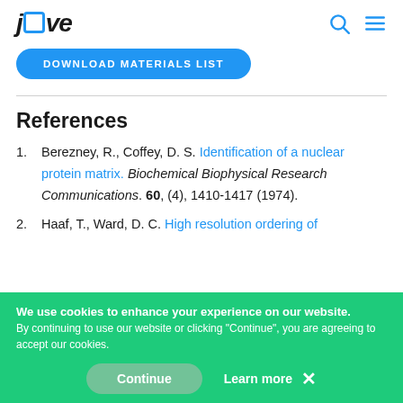jove [logo with search and menu icons]
DOWNLOAD MATERIALS LIST
References
1. Berezney, R., Coffey, D. S. Identification of a nuclear protein matrix. Biochemical Biophysical Research Communications. 60, (4), 1410-1417 (1974).
2. Haaf, T., Ward, D. C. High resolution ordering of
We use cookies to enhance your experience on our website. By continuing to use our website or clicking "Continue", you are agreeing to accept our cookies. Continue  Learn more ×